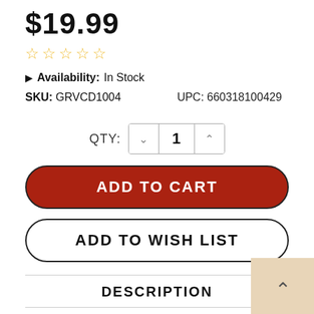$19.99
☆☆☆☆☆ (star rating, 0 stars)
▶ Availability: In Stock
SKU: GRVCD1004    UPC: 660318100429
QTY: 1
ADD TO CART
ADD TO WISH LIST
DESCRIPTION
Out Of Print! Only a few copies left!